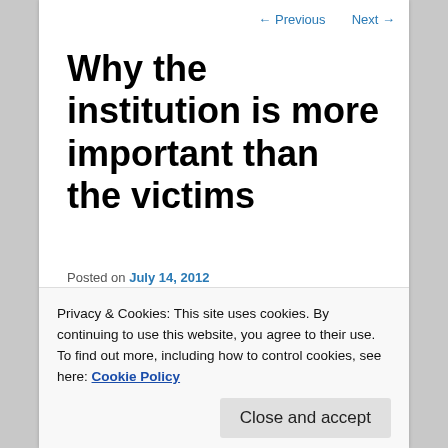← Previous   Next →
Why the institution is more important than the victims
Posted on July 14, 2012
The Nobel-Prize-winning physicist Steven Weinberg famously said:
Privacy & Cookies: This site uses cookies. By continuing to use this website, you agree to their use.
To find out more, including how to control cookies, see here: Cookie Policy
think we need to expand the definition of religion to